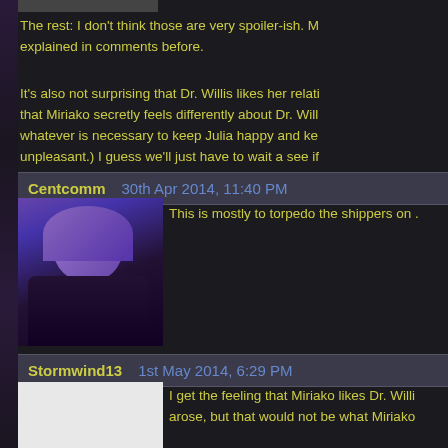The rest: I don't think those are very spoiler-ish. M explained in comments before.
It's also not surprising that Dr. Willis likes her relati that Miriako secretly feels differently about Dr. Will whatever is necessary to keep Julia happy and ke unpleasant.) I guess we'll just have to wait a see if
Centcomm   30th Apr 2014, 11:40 PM
This is mostly to torpedo the shippers on .
Stormwind13   1st May 2014, 6:29 PM
I get the feeling that Miriako likes Dr. Willi arose, but that would not be what Miriako
In fact I'll wager that if the opportunity pre Nova Roma. :-) I think she cares enough for the D Roma might not be the best place to be if you MIG
xpacetrue   1st May 2014, 7:25 PM
@ Stormwind13